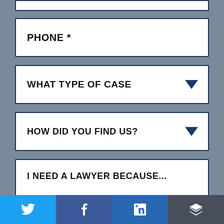[Figure (screenshot): Web contact form fields for a law firm: PHONE *, WHAT TYPE OF CASE dropdown, HOW DID YOU FIND US? dropdown, I NEED A LAWYER BECAUSE... textarea, and social sharing buttons (Twitter, Facebook, LinkedIn, Buffer) at the bottom.]